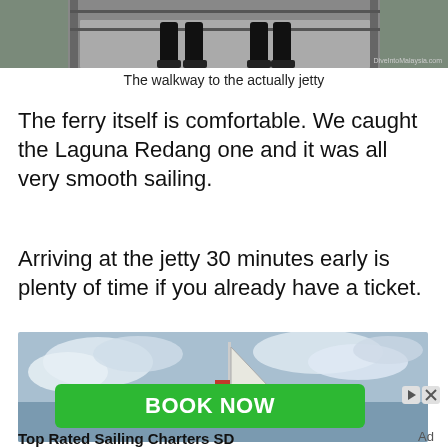[Figure (photo): A walkway leading to a jetty, showing legs walking on pavement with a railing and outdoor scenery. Watermark reads DiveIntoMalaysia.com]
The walkway to the actually jetty
The ferry itself is comfortable. We caught the Laguna Redang one and it was all very smooth sailing.
Arriving at the jetty 30 minutes early is plenty of time if you already have a ticket.
[Figure (photo): Advertisement photo showing a sailing boat with flags against a cloudy sky, with a green BOOK NOW button overlay]
Top Rated Sailing Charters SD
Ad